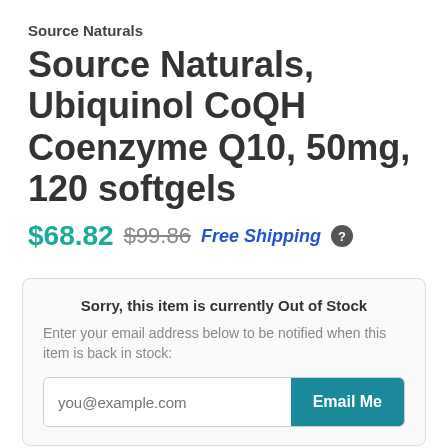Source Naturals
Source Naturals, Ubiquinol CoQH Coenzyme Q10, 50mg, 120 softgels
$68.82  $99.86  Free Shipping  ?
Sorry, this item is currently Out of Stock
Enter your email address below to be notified when this item is back in stock:
you@example.com  Email Me